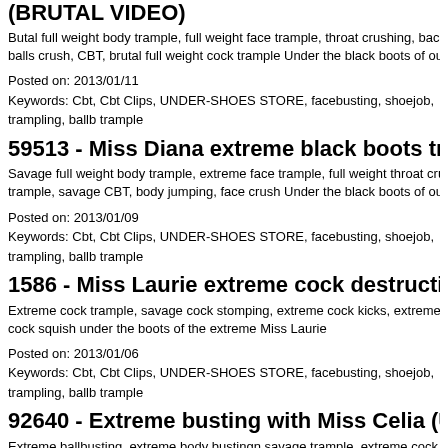(BRUTAL VIDEO)
Butal full weight body trample, full weight face trample, throat crushing, back tramp balls crush, CBT, brutal full weight cock trample Under the black boots of our new b
Posted on: 2013/01/11
Keywords: Cbt, Cbt Clips, UNDER-SHOES STORE, facebusting, shoejob, trampling, ballb trample
59513 - Miss Diana extreme black boots trample and CBT
Savage full weight body trample, extreme face trample, full weight throat crushing, trample, savage CBT, body jumping, face crush Under the black boots of our brutal
Posted on: 2013/01/09
Keywords: Cbt, Cbt Clips, UNDER-SHOES STORE, facebusting, shoejob, trampling, ballb trample
1586 - Miss Laurie extreme cock destruction (HARD VIDEO
Extreme cock trample, savage cock stomping, extreme cock kicks, extreme full wei cock squish under the boots of the extreme Miss Laurie
Posted on: 2013/01/06
Keywords: Cbt, Cbt Clips, UNDER-SHOES STORE, facebusting, shoejob, trampling, ballb trample
92640 - Extreme busting with Miss Celia (ULTRA brutal VID
Extreme ballbusting, extreme body bustingn savage trample, extreme cock and ba and balls trample, full weight throat crushing, jumping, brutal face trample Under th extrame model Miss Celia
Posted on: 2013/01/02